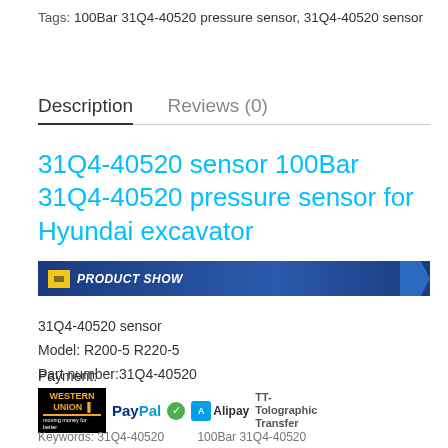Tags: 100Bar 31Q4-40520 pressure sensor, 31Q4-40520 sensor
Description    Reviews (0)
31Q4-40520 sensor 100Bar 31Q4-40520 pressure sensor for Hyundai excavator
[Figure (other): Blue banner with 'PRODUCT SHOW' label and yellow icon]
31Q4-40520 sensor
Model: R200-5 R220-5
Part number:31Q4-40520
Payment:
[Figure (other): Payment logos: Western Union, PayPal, Alipay (with check icon), TT- Tolographic Transfer]
Keywords: 31Q4-40520 ... 100Bar 31Q4-40520 ...